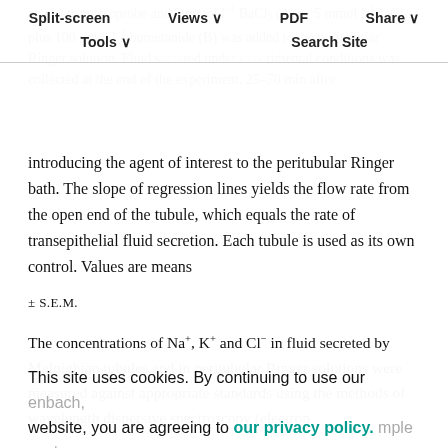an electromicroprobe and 5 mmol l⁻¹ BaCl₂ (A) or 5 mmol l⁻¹BaCl₂ plus 100 μmol l⁻¹ bumetanide (B) was added to the peritubular Ringer solution. Fluid secreted under experimental conditions was collected at the end of the experiment, 25–70 min after
Split-screen  Views  PDF  Share  Tools  Search Site
introducing the agent of interest to the peritubular Ringer bath. The slope of regression lines yields the flow rate from the open end of the tubule, which equals the rate of transepithelial fluid secretion. Each tubule is used as its own control. Values are means ± S.E.M.
The concentrations of Na⁺, K⁺ and Cl⁻ in fluid secreted by Malpighian tubules and in peritubular Ringer solutions were measured against appropriate standards using the methods of wavelength dispersive spectroscopy (electron
This site uses cookies. By continuing to use our website, you are agreeing to our privacy policy. Accept
of 30–50 pl volumes were analyzed using a JEOL 8900